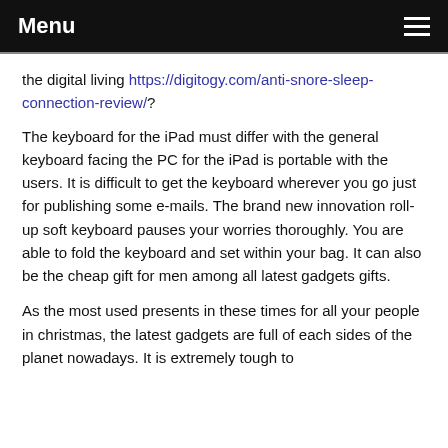Menu
the digital living https://digitogy.com/anti-snore-sleep-connection-review/?
The keyboard for the iPad must differ with the general keyboard facing the PC for the iPad is portable with the users. It is difficult to get the keyboard wherever you go just for publishing some e-mails. The brand new innovation roll-up soft keyboard pauses your worries thoroughly. You are able to fold the keyboard and set within your bag. It can also be the cheap gift for men among all latest gadgets gifts.
As the most used presents in these times for all your people in christmas, the latest gadgets are full of each sides of the planet nowadays. It is extremely tough to